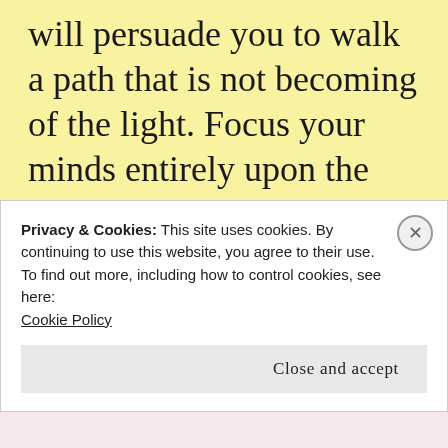will persuade you to walk a path that is not becoming of the light. Focus your minds entirely upon the light that shines within, that light from whence you came. You are a spiritual being in a physical body, doomed to walk this earth for a short period of time. A trial or test as you may call it.
Privacy & Cookies: This site uses cookies. By continuing to use this website, you agree to their use.
To find out more, including how to control cookies, see here: Cookie Policy
Close and accept